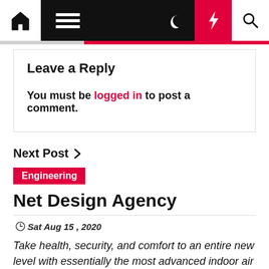[Figure (screenshot): Website navigation bar with home icon, hamburger menu, moon icon, red lightning bolt icon, and search icon]
Leave a Reply
You must be logged in to post a comment.
Next Post >
Engineering
Net Design Agency
Sat Aug 15 , 2020
Take health, security, and comfort to an entire new level with essentially the most advanced indoor air